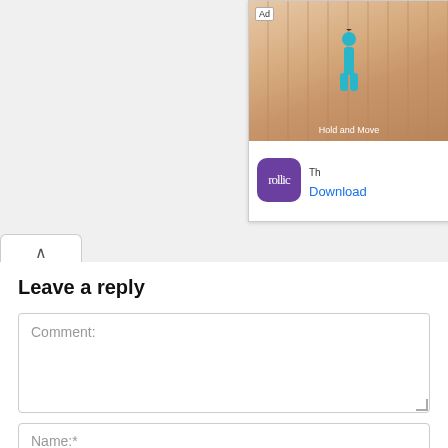[Figure (screenshot): Ad banner showing a mobile game 'Hold and Move' with a Rollic app icon and Download link]
Leave a reply
Comment:
Name:*
Email:*